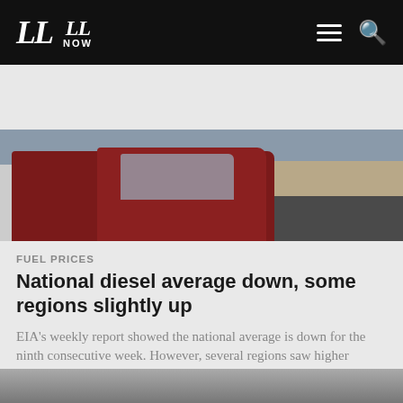LL | LL NOW
[Figure (photo): A red semi-truck/tractor-trailer photographed in a parking lot or truck stop, front-facing with a dark asphalt pavement and buildings in the background.]
FUEL PRICES
National diesel average down, some regions slightly up
EIA's weekly report showed the national average is down for the ninth consecutive week. However, several regions saw higher prices.
By SJ Munoz | August 23
[Figure (photo): Partial view of a second article image at the bottom of the page, cropped.]